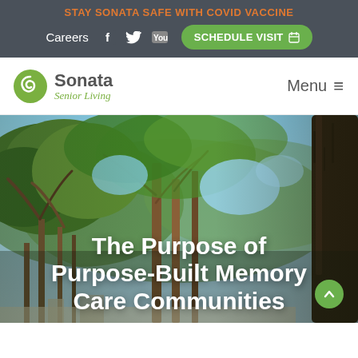STAY SONATA SAFE WITH COVID VACCINE
Careers
[Figure (screenshot): Sonata Senior Living website header with navigation bar showing logo, Menu button, social icons, Careers link, Schedule Visit button, COVID vaccine banner, and hero image of trees with text 'The Purpose of Purpose-Built Memory Care Communities']
The Purpose of Purpose-Built Memory Care Communities